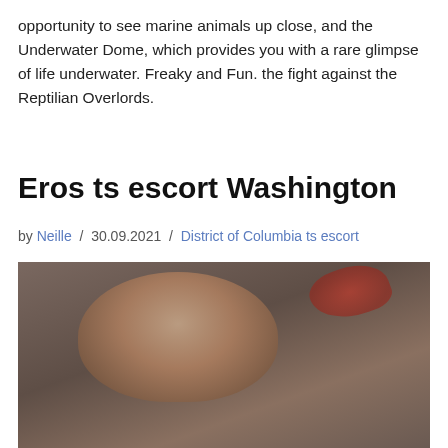opportunity to see marine animals up close, and the Underwater Dome, which provides you with a rare glimpse of life underwater. Freaky and Fun. the fight against the Reptilian Overlords.
Eros ts escort Washington
by Neille / 30.09.2021 / District of Columbia ts escort
[Figure (photo): A woman with red-painted nails holding her head in her hands, with overlaid text 'Register NOW']